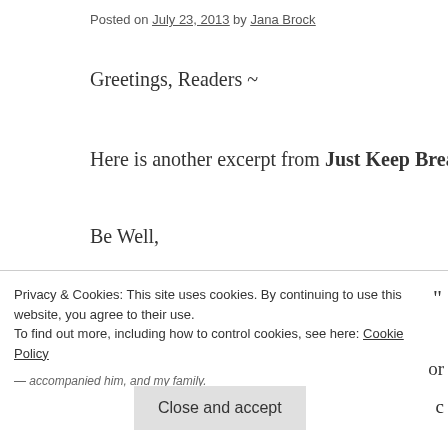Posted on July 23, 2013 by Jana Brock
Greetings, Readers ~
Here is another excerpt from Just Keep Breathing. This work i
Be Well,
Jana
~ ~ ~ ~ ~
The officer returned a half-smile and nodded. Taking a slow bre room before he spoke to me.
Privacy & Cookies: This site uses cookies. By continuing to use this website, you agree to their use.
To find out more, including how to control cookies, see here: Cookie Policy
Close and accept